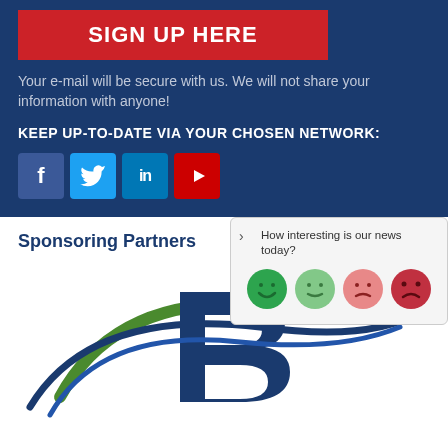SIGN UP HERE
Your e-mail will be secure with us. We will not share your information with anyone!
KEEP UP-TO-DATE VIA YOUR CHOSEN NETWORK:
[Figure (infographic): Social media icons: Facebook (blue), Twitter (cyan), LinkedIn (blue), YouTube (red)]
[Figure (infographic): Rating popup with question 'How interesting is our news today?' and four emoji faces ranging from happy (dark green) to unhappy (dark red)]
Sponsoring Partners
[Figure (logo): Company logo with blue letter B and green/blue swoosh curves]